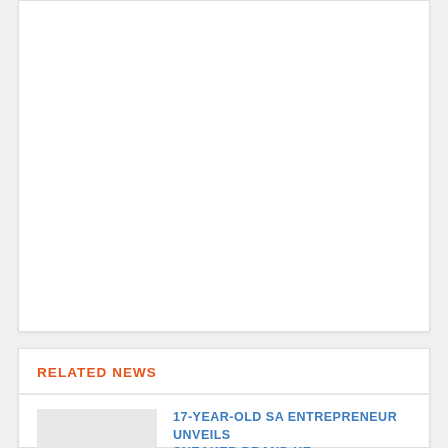[Figure (photo): Large white/blank image card at the top of the page]
RELATED NEWS
17-YEAR-OLD SA ENTREPRENEUR UNVEILS SNEAKER BRAND HE